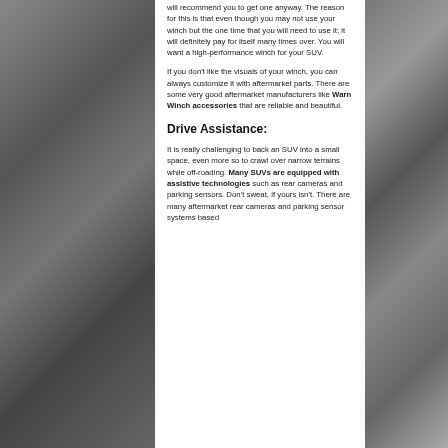will recommend you to get one anyway. The reason for this is that even though you may not use your winch but the one time that you will need to use it; it will definitely pay for itself many times over. You will want a high-performance winch for your SUV.
If you don't like the visuals of your winch, you can always customize it with aftermarket parts. There are some very good aftermarket manufacturers like Warn Winch accessories that are reliable and beautiful.
Drive Assistance:
It is really challenging to back an SUV into a small space, even more so to crawl over narrow terrains while off-roading. Many SUVs are equipped with assistive technologies such as rear cameras and parking sensors. Don't sweat, if yours isn't. There are many aftermarket rear cameras and parking sensor systems based on the market that you can upgrade and enhance...